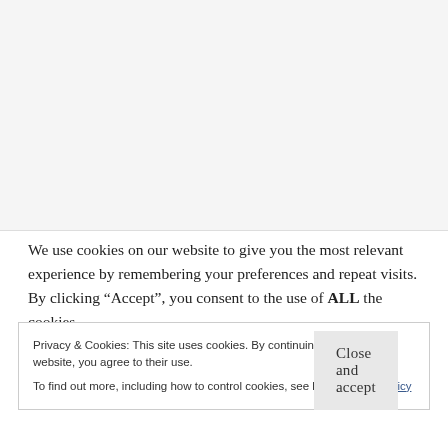We use cookies on our website to give you the most relevant experience by remembering your preferences and repeat visits. By clicking “Accept”, you consent to the use of ALL the cookies.
Privacy & Cookies: This site uses cookies. By continuing to use this website, you agree to their use.
To find out more, including how to control cookies, see here: Cookie Policy
Close and accept